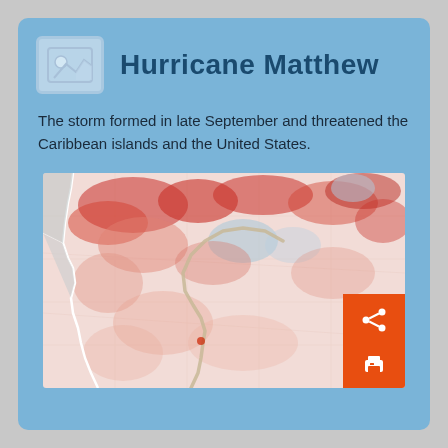Hurricane Matthew
The storm formed in late September and threatened the Caribbean islands and the United States.
[Figure (map): Sea surface temperature anomaly map showing the Atlantic Ocean region with the hurricane track of Matthew. Red and pink colors indicate warmer than normal temperatures; blue indicates cooler areas. A curved storm track line is visible through the center of the map.]